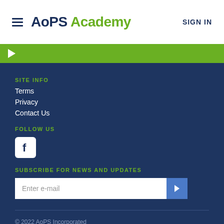AoPS Academy  SIGN IN
[Figure (other): Green navigation bar with white play/forward arrow icon on the left]
SITE INFO
Terms
Privacy
Contact Us
FOLLOW US
[Figure (logo): Facebook logo icon in white square with rounded corners]
SUBSCRIBE FOR NEWS AND UPDATES
[Figure (other): Email subscription form with text input 'Enter e-mail' and blue submit button with chevron]
© 2022 AoPS Incorporated